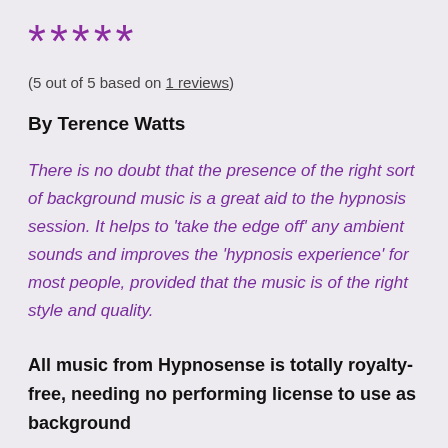★★★★★
(5 out of 5 based on 1 reviews)
By Terence Watts
There is no doubt that the presence of the right sort of background music is a great aid to the hypnosis session. It helps to 'take the edge off' any ambient sounds and improves the 'hypnosis experience' for most people, provided that the music is of the right style and quality.
All music from Hypnosense is totally royalty-free, needing no performing license to use as background